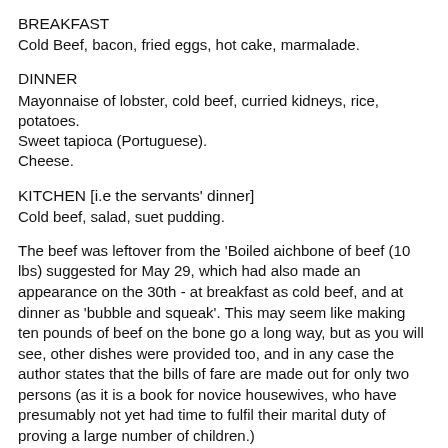BREAKFAST
Cold Beef, bacon, fried eggs, hot cake, marmalade.
DINNER
Mayonnaise of lobster, cold beef, curried kidneys, rice, potatoes.
Sweet tapioca (Portuguese).
Cheese.
KITCHEN [i.e the servants' dinner]
Cold beef, salad, suet pudding.
The beef was leftover from the 'Boiled aichbone of beef (10 lbs) suggested for May 29, which had also made an appearance on the 30th - at breakfast as cold beef, and at dinner as 'bubble and squeak'. This may seem like making ten pounds of beef on the bone go a long way, but as you will see, other dishes were provided too, and in any case the author states that the bills of fare are made out for only two persons (as it is a book for novice housewives, who have presumably not yet had time to fulfil their marital duty of proving a large number of children.)